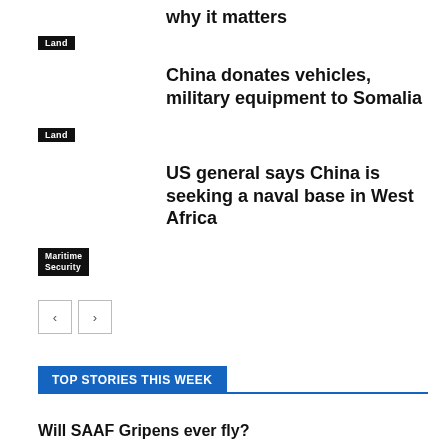why it matters
Land
China donates vehicles, military equipment to Somalia
Land
US general says China is seeking a naval base in West Africa
Maritime Security
TOP STORIES THIS WEEK
Will SAAF Gripens ever fly?